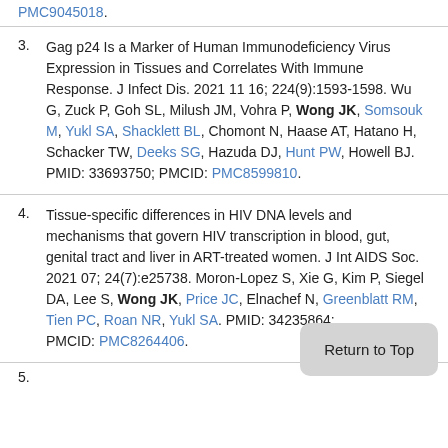PMC9045018.
3. Gag p24 Is a Marker of Human Immunodeficiency Virus Expression in Tissues and Correlates With Immune Response. J Infect Dis. 2021 11 16; 224(9):1593-1598. Wu G, Zuck P, Goh SL, Milush JM, Vohra P, Wong JK, Somsouk M, Yukl SA, Shacklett BL, Chomont N, Haase AT, Hatano H, Schacker TW, Deeks SG, Hazuda DJ, Hunt PW, Howell BJ. PMID: 33693750; PMCID: PMC8599810.
4. Tissue-specific differences in HIV DNA levels and mechanisms that govern HIV transcription in blood, gut, genital tract and liver in ART-treated women. J Int AIDS Soc. 2021 07; 24(7):e25738. Moron-Lopez S, Xie G, Kim P, Siegel DA, Lee S, Wong JK, Price JC, Elnachef N, Greenblatt RM, Tien PC, Roan NR, Yukl SA. PMID: 34235864; PMCID: PMC8264406.
Return to Top
5. [partial]